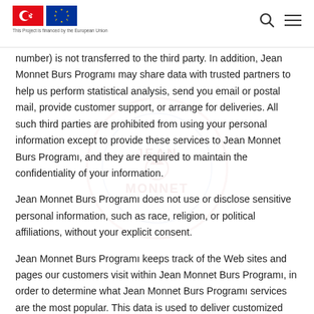This Project is financed by the European Union
number) is not transferred to the third party. In addition, Jean Monnet Burs Programı may share data with trusted partners to help us perform statistical analysis, send you email or postal mail, provide customer support, or arrange for deliveries. All such third parties are prohibited from using your personal information except to provide these services to Jean Monnet Burs Programı, and they are required to maintain the confidentiality of your information.
Jean Monnet Burs Programı does not use or disclose sensitive personal information, such as race, religion, or political affiliations, without your explicit consent.
Jean Monnet Burs Programı keeps track of the Web sites and pages our customers visit within Jean Monnet Burs Programı, in order to determine what Jean Monnet Burs Programı services are the most popular. This data is used to deliver customized content and advertising within Jean Monnet